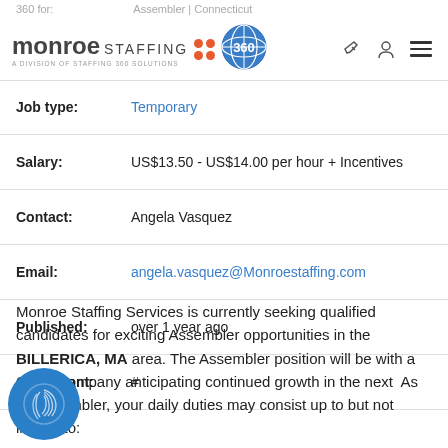[Figure (logo): Monroe Staffing logo with orange dots and 360 globe badge]
| Field | Value |
| --- | --- |
| Job type: | Temporary |
| Salary: | US$13.50 - US$14.00 per hour + Incentives |
| Contact: | Angela Vasquez |
| Email: | angela.vasquez@Monroestaffing.com |
| Published: | over 1 year ago |
| Consultant: | # |
Monroe Staffing Services is currently seeking qualified candidates for exciting Assembler opportunities in the BILLERICA, MA area. The Assembler position will be with a stable company anticipating continued growth in the next As an Assembler, your daily duties may consist up to but not limited to: